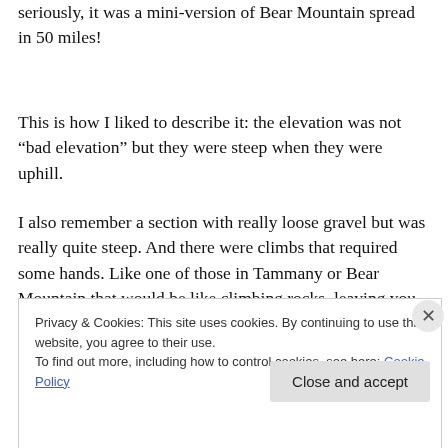seriously, it was a mini-version of Bear Mountain spread in 50 miles!
This is how I liked to describe it: the elevation was not “bad elevation” but they were steep when they were uphill.
I also remember a section with really loose gravel but was really quite steep. And there were climbs that required some hands. Like one of those in Tammany or Bear Mountain that would be like climbing rocks, leaving you cursing a bit or being swarmed by mosquitoes because you’re going too slow. But as in any uphill, the hard work is
Privacy & Cookies: This site uses cookies. By continuing to use this website, you agree to their use.
To find out more, including how to control cookies, see here: Cookie Policy
Close and accept